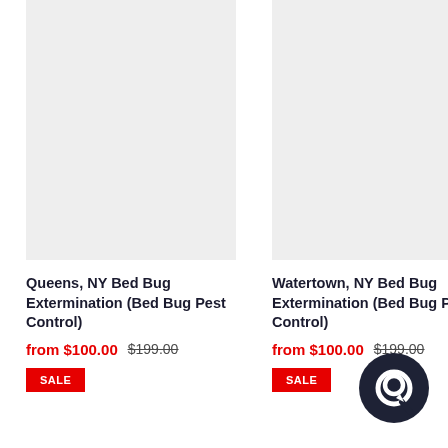[Figure (photo): Gray placeholder product image for Queens NY Bed Bug Extermination]
Queens, NY Bed Bug Extermination (Bed Bug Pest Control)
from $100.00 $199.00
SALE
[Figure (photo): Gray placeholder product image for Watertown NY Bed Bug Extermination]
Watertown, NY Bed Bug Extermination (Bed Bug Pest Control)
from $100.00 $199.00
SALE
[Figure (illustration): Chat bubble / customer support icon in dark navy circle]